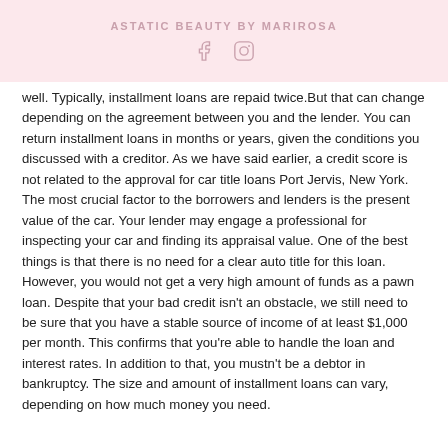ASTATIC BEAUTY BY MARIROSA
well. Typically, installment loans are repaid twice.But that can change depending on the agreement between you and the lender. You can return installment loans in months or years, given the conditions you discussed with a creditor. As we have said earlier, a credit score is not related to the approval for car title loans Port Jervis, New York. The most crucial factor to the borrowers and lenders is the present value of the car. Your lender may engage a professional for inspecting your car and finding its appraisal value. One of the best things is that there is no need for a clear auto title for this loan. However, you would not get a very high amount of funds as a pawn loan. Despite that your bad credit isn't an obstacle, we still need to be sure that you have a stable source of income of at least $1,000 per month. This confirms that you're able to handle the loan and interest rates. In addition to that, you mustn't be a debtor in bankruptcy. The size and amount of installment loans can vary, depending on how much money you need.